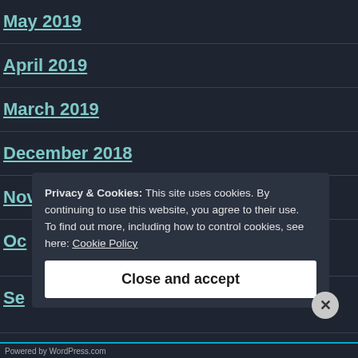May 2019
April 2019
March 2019
December 2018
November 2018
Oc[tober 2018 - partially visible]
Se[ptember 2018 - partially visible]
Au[gust 2018 - partially visible]
Ju[ly 2018 - partially visible]
Privacy & Cookies: This site uses cookies. By continuing to use this website, you agree to their use.
To find out more, including how to control cookies, see here: Cookie Policy
Close and accept